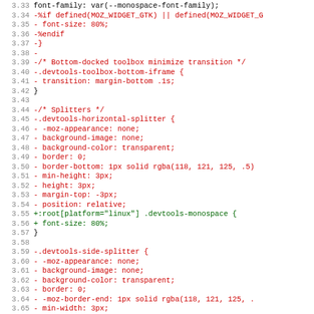Code diff showing CSS changes for devtools toolbox and splitter styles, lines 3.33 through 3.65